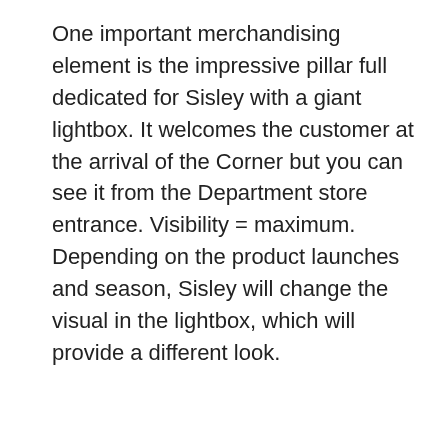One important merchandising element is the impressive pillar full dedicated for Sisley with a giant lightbox. It welcomes the customer at the arrival of the Corner but you can see it from the Department store entrance. Visibility = maximum. Depending on the product launches and season, Sisley will change the visual in the lightbox, which will provide a different look.